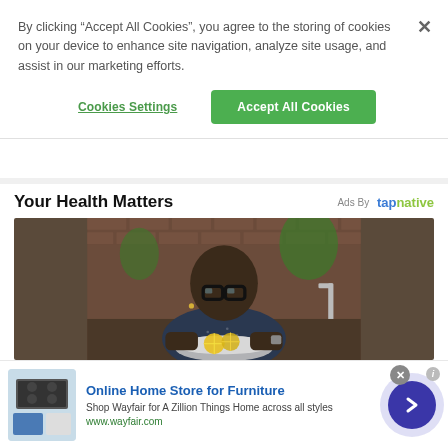By clicking “Accept All Cookies”, you agree to the storing of cookies on your device to enhance site navigation, analyze site usage, and assist in our marketing efforts.
Cookies Settings
Accept All Cookies
Your Health Matters
Ads By tapnative
[Figure (photo): Person wearing glasses sitting at a counter holding a bowl with lemon slices, kitchen with brick wall in background]
Online Home Store for Furniture
Shop Wayfair for A Zillion Things Home across all styles
www.wayfair.com
[Figure (photo): Small thumbnail image of home appliances/furniture]